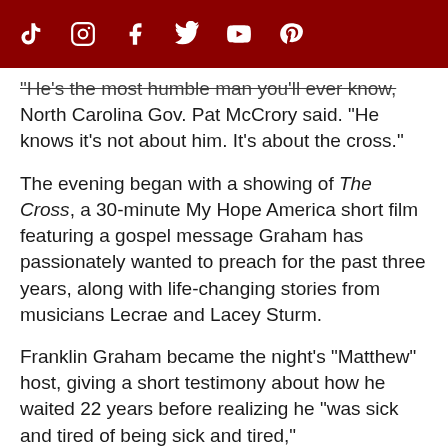[social media icons: TikTok, Instagram, Facebook, Twitter, YouTube, Pinterest]
"He's the most humble man you'll ever know," North Carolina Gov. Pat McCrory said. "He knows it's not about him. It's about the cross."
The evening began with a showing of The Cross, a 30-minute My Hope America short film featuring a gospel message Graham has passionately wanted to preach for the past three years, along with life-changing stories from musicians Lecrae and Lacey Sturm.
Franklin Graham became the night's "Matthew" host, giving a short testimony about how he waited 22 years before realizing he "was sick and tired of being sick and tired,"